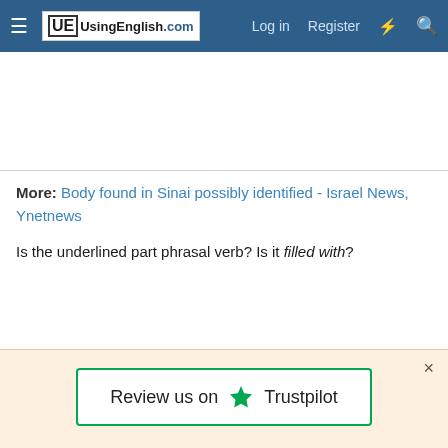UsingEnglish.com | Log in | Register
More: Body found in Sinai possibly identified - Israel News, Ynetnews
Is the underlined part phrasal verb? Is it filled with?
[Figure (screenshot): Trustpilot review banner with green star and border, showing 'Review us on ★ Trustpilot']